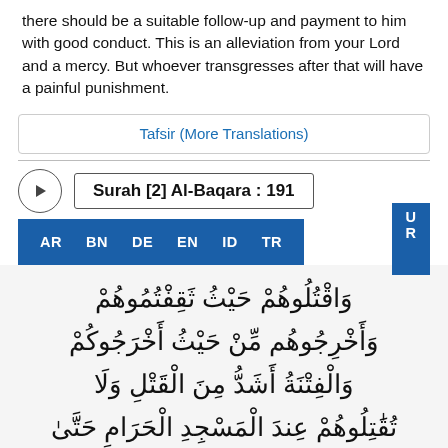there should be a suitable follow-up and payment to him with good conduct. This is an alleviation from your Lord and a mercy. But whoever transgresses after that will have a painful punishment.
Tafsir (More Translations)
Surah [2] Al-Baqara : 191
AR  BN  DE  EN  ID  TR  U R
Arabic text of Surah Al-Baqara ayah 191